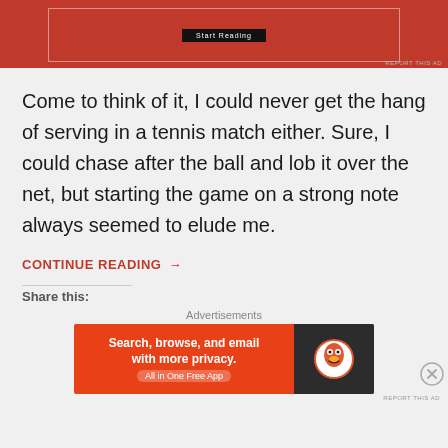[Figure (other): Red advertisement banner (top, partially cut off) with white border inner box and dark label text]
Come to think of it, I could never get the hang of serving in a tennis match either. Sure, I could chase after the ball and lob it over the net, but starting the game on a strong note always seemed to elude me.
CONTINUE READING →
Share this:
Advertisements
[Figure (other): DuckDuckGo advertisement banner: 'Search, browse, and email with more privacy. All in One Free App' with DuckDuckGo logo on dark right panel]